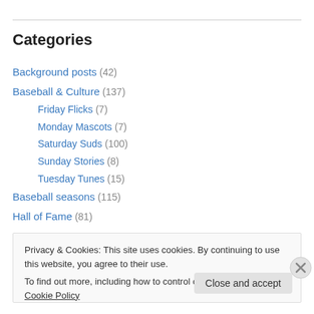Categories
Background posts (42)
Baseball & Culture (137)
Friday Flicks (7)
Monday Mascots (7)
Saturday Suds (100)
Sunday Stories (8)
Tuesday Tunes (15)
Baseball seasons (115)
Hall of Fame (81)
Privacy & Cookies: This site uses cookies. By continuing to use this website, you agree to their use. To find out more, including how to control cookies, see here: Cookie Policy